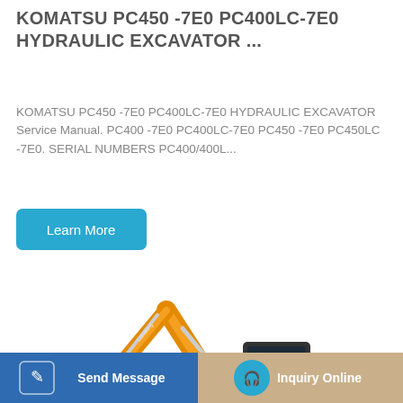KOMATSU PC450 -7E0 PC400LC-7E0 HYDRAULIC EXCAVATOR ...
KOMATSU PC450 -7E0 PC400LC-7E0 HYDRAULIC EXCAVATOR Service Manual. PC400 -7E0 PC400LC-7E0 PC450 -7E0 PC450LC -7E0. SERIAL NUMBERS PC400/400L...
[Figure (other): Learn More button — teal/blue rounded rectangle button with white text]
[Figure (photo): Orange hydraulic excavator (similar to Komatsu PC450) on white background, shown with boom extended and bucket lowered]
[Figure (other): Bottom navigation bar with Send Message (blue) and Inquiry Online (tan/gold) sections with icons]